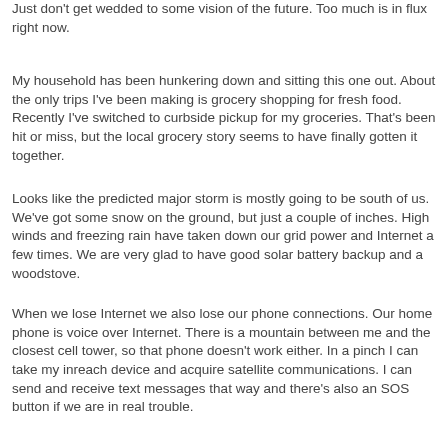Just don't get wedded to some vision of the future. Too much is in flux right now.
My household has been hunkering down and sitting this one out. About the only trips I've been making is grocery shopping for fresh food. Recently I've switched to curbside pickup for my groceries. That's been hit or miss, but the local grocery story seems to have finally gotten it together.
Looks like the predicted major storm is mostly going to be south of us. We've got some snow on the ground, but just a couple of inches. High winds and freezing rain have taken down our grid power and Internet a few times. We are very glad to have good solar battery backup and a woodstove.
When we lose Internet we also lose our phone connections. Our home phone is voice over Internet. There is a mountain between me and the closest cell tower, so that phone doesn't work either. In a pinch I can take my inreach device and acquire satellite communications. I can send and receive text messages that way and there's also an SOS button if we are in real trouble.